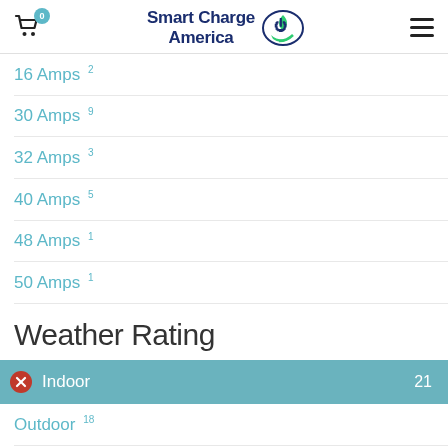Smart Charge America — cart 0
16 Amps 2
30 Amps 9
32 Amps 3
40 Amps 5
48 Amps 1
50 Amps 1
Weather Rating
Indoor 21
Outdoor 18